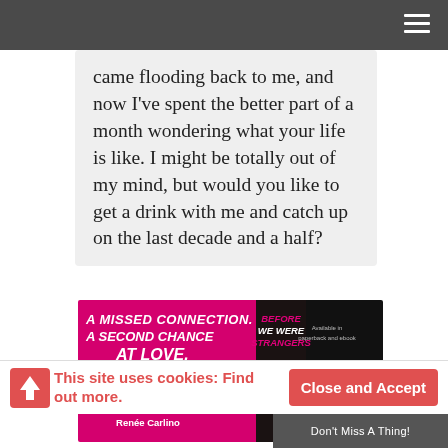Navigation bar with hamburger menu
came flooding back to me, and now I've spent the better part of a month wondering what your life is like. I might be totally out of my mind, but would you like to get a drink with me and catch up on the last decade and a half?
[Figure (illustration): Book advertisement banner for 'Before We Were Strangers' by Renée Carlino. Pink and dark background. Text: 'A missed connection. A second chance at love.' Book title shown. Available in paperback and ebook. On Sale 8.18.15.]
This site uses cookies: Find out more.
Close and Accept
Don't Miss A Thing!